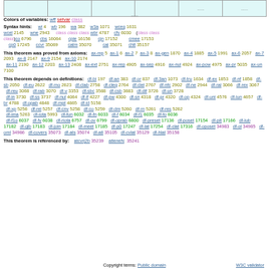|  |  |  |  | ...... | ...... |
| --- | --- | --- | --- | --- | --- |
|  |  | ...... |  |  |  |
Colors of variables: wff setvar class
Syntax hints: wi 4 wb 196 wa 382 w3a 1071 wceq 1631 wcel 2145 wne 2943 class class class wbr 4787 cfv 6030 (class class class)co 6796 cbs 16064 cple 16156 cjn 17152 cmee 17153 cp0 17245 ccvr 35069 catm 35070 cal 35071 chlt 35157
This theorem was proved from axioms: ax-mp 5 ax-1 6 ax-2 7 ax-3 8 ax-gen 1870 ax-4 1885 ax-5 1991 ax-6 2057 ax-7 2093 ax-8 2147 ax-9 2154 ax-10 2174 ax-11 2190 ax-12 2203 ax-13 2408 ax-ext 2751 ax-rep 4905 ax-sep 4916 ax-nul 4924 ax-pow 4975 ax-pr 5035 ax-un 7100
This theorem depends on definitions: df-bi 197 df-an 383 df-or 837 df-3an 1073 df-tru 1634 df-ex 1853 df-nf 1858 df-sb 2050 df-eu 2622 df-mo 2623 df-clab 2758 df-cleq 2764 df-clel 2767 df-nfc 2902 df-ne 2944 df-ral 3066 df-rex 3067 df-reu 3068 df-rab 3070 df-v 3353 df-sbc 3588 df-csb 3683 df-dif 3726 df-un 3728 df-in 3730 df-ss 3737 df-nul 4064 df-if 4227 df-pw 4300 df-sn 4318 df-pr 4320 df-op 4324 df-uni 4576 df-iun 4657 df-br 4788 df-opab 4848 df-mpt 4865 df-id 5158 df-xp 5256 df-rel 5257 df-cnv 5258 df-co 5259 df-dm 5260 df-rn 5261 df-res 5262 df-ima 5263 df-iota 5993 df-fun 6032 df-fn 6033 df-f 6034 df-f1 6035 df-fo 6036 df-f1o 6037 df-fv 6038 df-riota 6757 df-ov 6799 df-oprab 6800 df-preset 17136 df-poset 17154 df-plt 17166 df-lub 17182 df-glb 17183 df-join 17184 df-meet 17185 df-p0 17247 df-lat 17254 df-clat 17316 df-oposet 34983 df-ol 34985 df-oml 34986 df-covers 35073 df-ats 35074 df-atl 35105 df-cvlat 35129 df-hlat 35158
This theorem is referenced by: atcvrj2b 35239 atleneN 35241
Copyright terms: Public domain    W3C validator